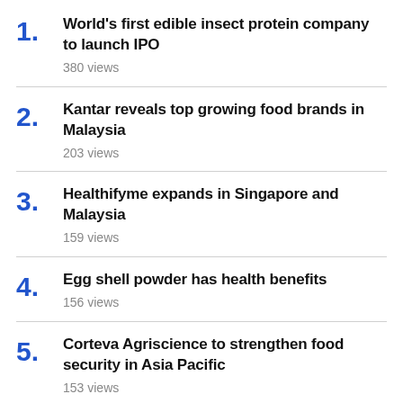1. World's first edible insect protein company to launch IPO — 380 views
2. Kantar reveals top growing food brands in Malaysia — 203 views
3. Healthifyme expands in Singapore and Malaysia — 159 views
4. Egg shell powder has health benefits — 156 views
5. Corteva Agriscience to strengthen food security in Asia Pacific — 153 views